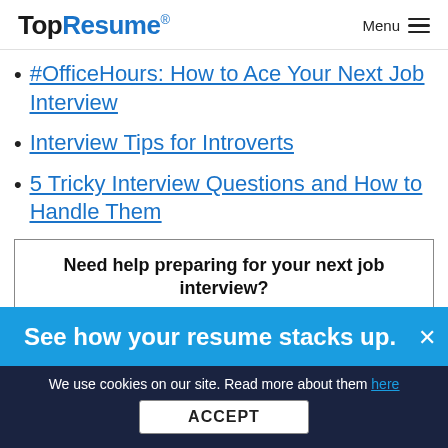TopResume® Menu
#OfficeHours: How to Ace Your Next Job Interview
Interview Tips for Introverts
5 Tricky Interview Questions and How to Handle Them
Need help preparing for your next job interview? Unlock a limited time special offer from TopInterview
See how your resume stacks up.
We use cookies on our site. Read more about them here
ACCEPT